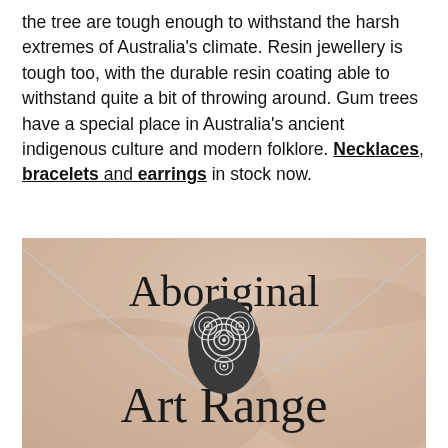the tree are tough enough to withstand the harsh extremes of Australia's climate. Resin jewellery is tough too, with the durable resin coating able to withstand quite a bit of throwing around. Gum trees have a special place in Australia's ancient indigenous culture and modern folklore. Necklaces, bracelets and earrings in stock now.
[Figure (photo): Photo of a necklace pendant with Aboriginal art spiral pattern on a cream/peach fabric background, with 'Aboriginal Art Range' text overlaid in serif font]